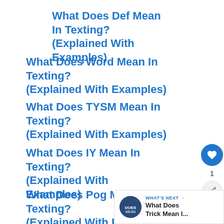What Does Def Mean In Texting? (Explained With Examples)
What Does Word Mean In Texting? (Explained With Examples)
What Does TYSM Mean In Texting? (Explained With Examples)
What Does IY Mean In Texting? (Explained With Examples)
What Does Pog Mean In Texting? (Explained With Examples)
What Does DAB Mean In Texting? (Explained With Examples)